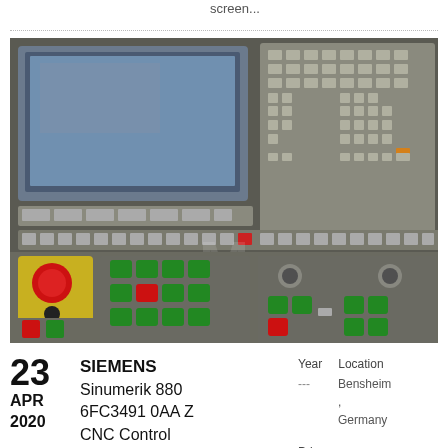screen...
[Figure (photo): SIEMENS Sinumerik 880 CNC Control panel showing keyboard, monitor screen, control buttons including red emergency stop, green and red operation buttons.]
23
APR
2020
SIEMENS Sinumerik 880 6FC3491 0AA Z CNC Control
Year  Location
---  Bensheim
,
Germany
Price